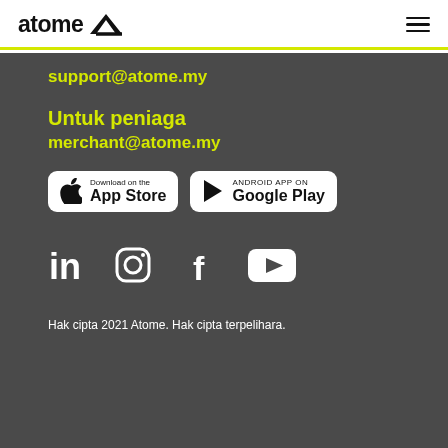atome
support@atome.my
Untuk peniaga
merchant@atome.my
[Figure (logo): Download on the App Store button]
[Figure (logo): ANDROID APP ON Google Play button]
[Figure (infographic): Social media icons: LinkedIn, Instagram, Facebook, YouTube]
Hak cipta 2021 Atome. Hak cipta terpelihara.